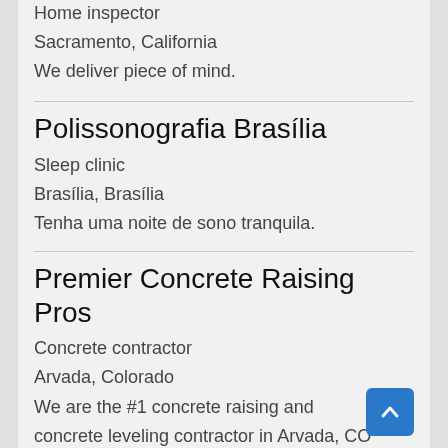Home inspector
Sacramento, California
We deliver piece of mind.
Polissonografia Brasília
Sleep clinic
Brasília, Brasília
Tenha uma noite de sono tranquila.
Premier Concrete Raising Pros
Concrete contractor
Arvada, Colorado
We are the #1 concrete raising and concrete leveling contractor in Arvada, CO